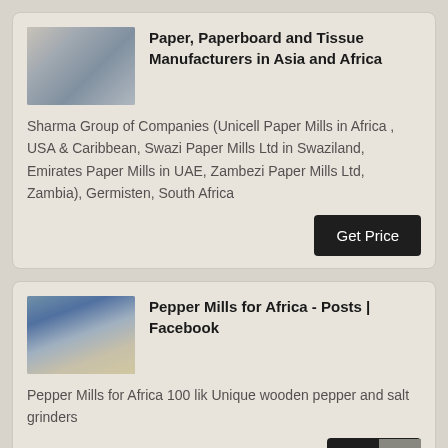[Figure (photo): Industrial paper mill machinery interior photo]
Paper, Paperboard and Tissue Manufacturers in Asia and Africa
Sharma Group of Companies (Unicell Paper Mills in Africa , USA & Caribbean, Swazi Paper Mills Ltd in Swaziland, Emirates Paper Mills in UAE, Zambezi Paper Mills Ltd, Zambia), Germisten, South Africa
[Figure (photo): Industrial pepper mill machinery interior photo]
Pepper Mills for Africa - Posts | Facebook
Pepper Mills for Africa 100 lik Unique wooden pepper and salt grinders